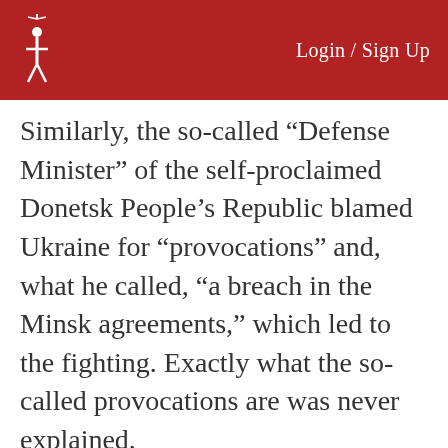Login / Sign Up
Similarly, the so-called “Defense Minister” of the self-proclaimed Donetsk People’s Republic blamed Ukraine for “provocations” and, what he called, “a breach in the Minsk agreements,” which led to the fighting. Exactly what the so-called provocations are was never explained. This argument, this set of arguments, have been